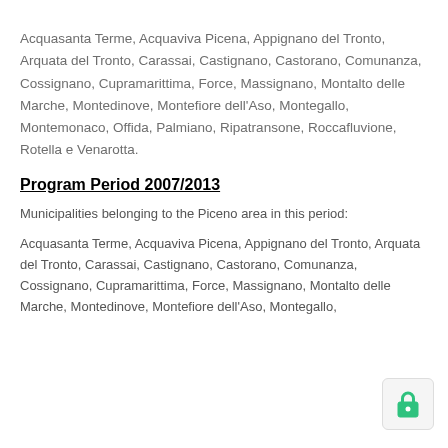Acquasanta Terme, Acquaviva Picena, Appignano del Tronto, Arquata del Tronto, Carassai, Castignano, Castorano, Comunanza, Cossignano, Cupramarittima, Force, Massignano, Montalto delle Marche, Montedinove, Montefiore dell'Aso, Montegallo, Montemonaco, Offida, Palmiano, Ripatransone, Roccafluvione, Rotella e Venarotta.
Program Period 2007/2013
Municipalities belonging to the Piceno area in this period:
Acquasanta Terme, Acquaviva Picena, Appignano del Tronto, Arquata del Tronto, Carassai, Castignano, Castorano, Comunanza, Cossignano, Cupramarittima, Force, Massignano, Montalto delle Marche, Montedinove, Montefiore dell'Aso, Montegallo,